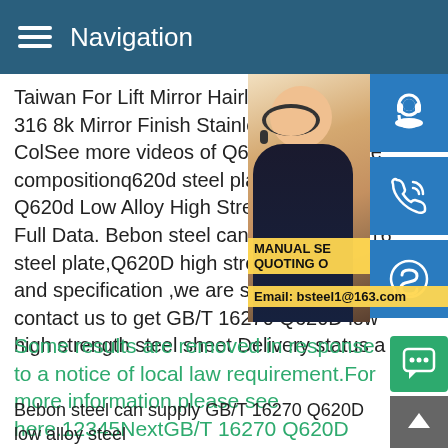Navigation
Taiwan For Lift Mirror Hairline Color EtchW 316 8k Mirror Finish Stainless Steel Sheet ColSee more videos of Q620D steel plate compositionq620d steel plate data sheet - Q620d Low Alloy High Strength Structural Full Data. Bebon steel can supply GB/T 16 steel plate,Q620D high strength steel shee and specification ,we are steel suppliers a contact us to get GB/T 16270 Q620D low high strength steel sheet Delivery status a
[Figure (photo): Woman with headset on phone, customer service representative, with blue icon buttons for headset, phone, and Skype on the right side, and a yellow banner overlay showing MANUAL SE, QUOTING O, and Email: bsteel1@163.com]
Some results are removed in response to a notice of local law requirement.For more information,please see here.12345NextGB/T 16270 Q620D low alloy steel plate,Q620D h
Bebon steel can supply GB/T 16270 Q620D low alloy steel